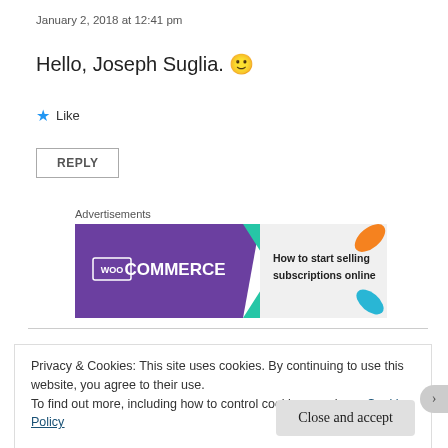January 2, 2018 at 12:41 pm
Hello, Joseph Suglia. 🙂
★ Like
REPLY
Advertisements
[Figure (other): WooCommerce advertisement banner: purple left side with WooCommerce logo and teal arrow, gray right side with text 'How to start selling subscriptions online' and decorative orange and blue leaf shapes]
Privacy & Cookies: This site uses cookies. By continuing to use this website, you agree to their use.
To find out more, including how to control cookies, see here: Cookie Policy
Close and accept